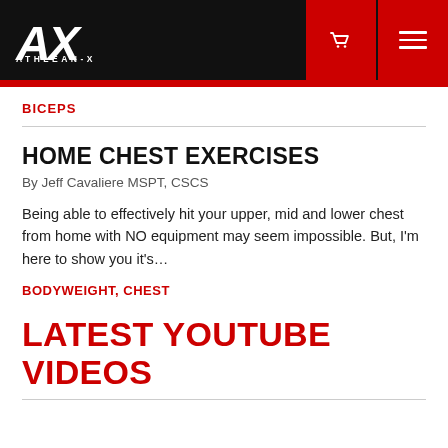ATHLEAN-X
BICEPS
HOME CHEST EXERCISES
By Jeff Cavaliere MSPT, CSCS
Being able to effectively hit your upper, mid and lower chest from home with NO equipment may seem impossible. But, I'm here to show you it's…
BODYWEIGHT, CHEST
LATEST YOUTUBE VIDEOS